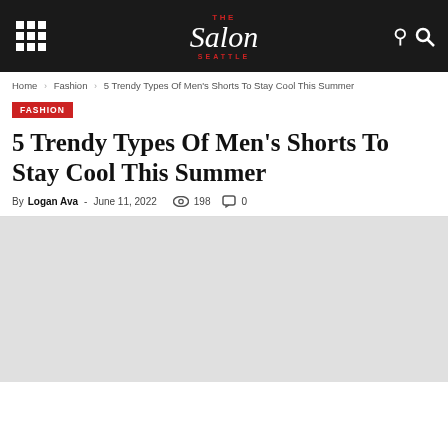The Salon Seattle
Home › Fashion › 5 Trendy Types Of Men's Shorts To Stay Cool This Summer
FASHION
5 Trendy Types Of Men's Shorts To Stay Cool This Summer
By Logan Ava - June 11, 2022  198  0
[Figure (photo): Article image placeholder area (blank/gray)]